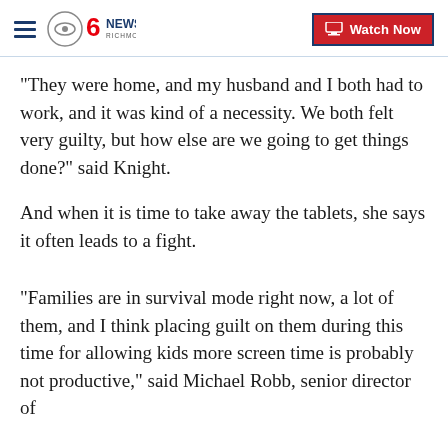CBS 6 News Richmond — Watch Now
"They were home, and my husband and I both had to work, and it was kind of a necessity. We both felt very guilty, but how else are we going to get things done?" said Knight.
And when it is time to take away the tablets, she says it often leads to a fight.
"Families are in survival mode right now, a lot of them, and I think placing guilt on them during this time for allowing kids more screen time is probably not productive," said Michael Robb, senior director of